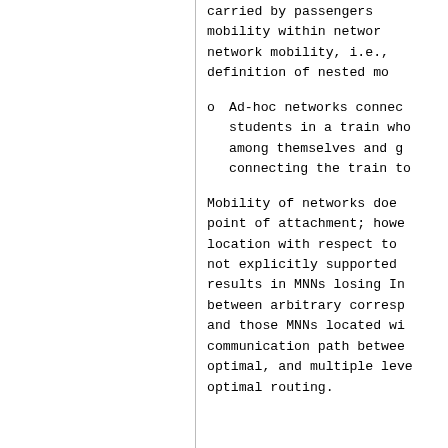carried by passengers mobility within network network mobility, i.e., definition of nested mo
Ad-hoc networks connect students in a train who among themselves and ge connecting the train to
Mobility of networks does point of attachment; howe location with respect to not explicitly supported results in MNNs losing Int between arbitrary corresp and those MNNs located wi communication path betwe optimal, and multiple lev optimal routing.